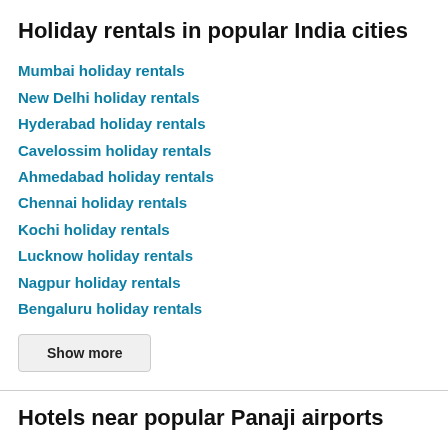Holiday rentals in popular India cities
Mumbai holiday rentals
New Delhi holiday rentals
Hyderabad holiday rentals
Cavelossim holiday rentals
Ahmedabad holiday rentals
Chennai holiday rentals
Kochi holiday rentals
Lucknow holiday rentals
Nagpur holiday rentals
Bengaluru holiday rentals
Show more
Hotels near popular Panaji airports
Vasco da Gama Goa Intl Airport